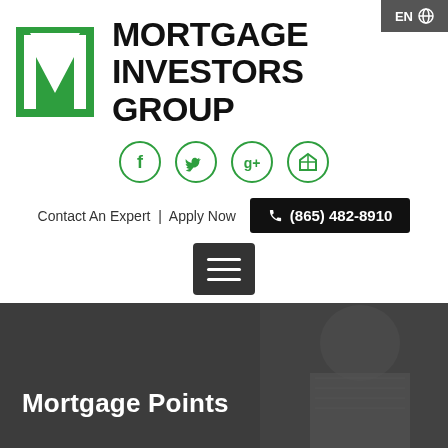[Figure (logo): Mortgage Investors Group logo with green M icon and bold black text]
[Figure (other): Social media icons row: Facebook, Twitter, Google+, Zillow in green circle outlines]
Contact An Expert  |  Apply Now  ☎ (865) 482-8910
[Figure (other): Hamburger menu button (three horizontal lines on dark background)]
Mortgage Points
Home > Mortgage Points